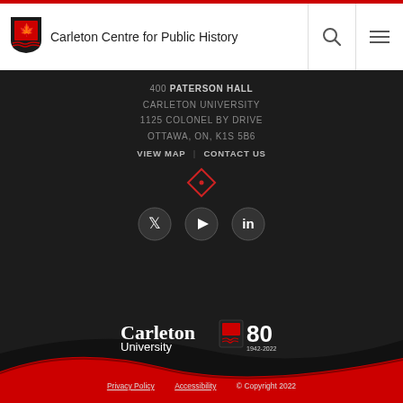Carleton Centre for Public History
400 PATERSON HALL
CARLETON UNIVERSITY
1125 COLONEL BY DRIVE
OTTAWA, ON, K1S 5B6
VIEW MAP | CONTACT US
[Figure (logo): Carleton University 80th anniversary logo (1942-2022)]
Privacy Policy   Accessibility   © Copyright 2022